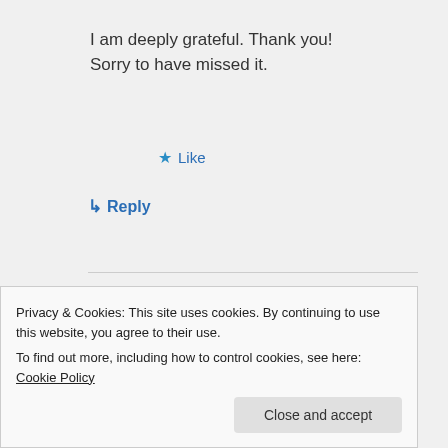I am deeply grateful. Thank you!
Sorry to have missed it.
★ Like
↳ Reply
Valentina on December 3, 2013 at 5:07 pm
🙂
Privacy & Cookies: This site uses cookies. By continuing to use this website, you agree to their use.
To find out more, including how to control cookies, see here: Cookie Policy
Close and accept